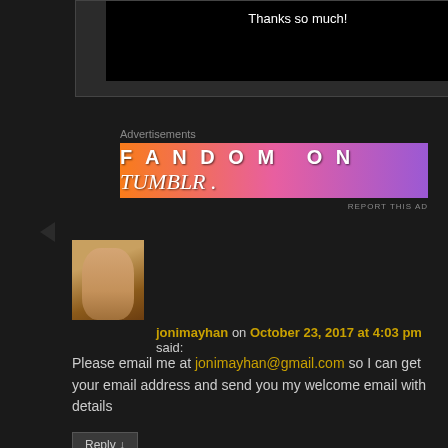[Figure (screenshot): Dark background video player area with text 'Thanks so much!' visible on black screen]
Advertisements
[Figure (illustration): Fandom on Tumblr advertisement banner with gradient orange to purple background and doodle icons]
REPORT THIS AD
[Figure (photo): Profile photo of a woman with blonde hair]
jonimayhan on October 23, 2017 at 4:03 pm said:
Please email me at jonimayhan@gmail.com so I can get your email address and send you my welcome email with details
Reply ↓